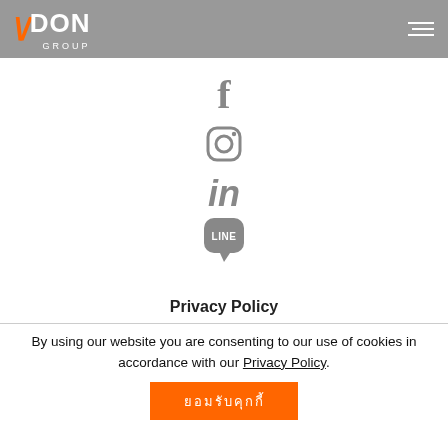VDON GROUP
[Figure (logo): VDON Group logo with orange V and white DON GROUP text on grey header bar]
[Figure (infographic): Social media icons: Facebook, Instagram, LinkedIn, LINE]
Privacy Policy
By using our website you are consenting to our use of cookies in accordance with our Privacy Policy.
ยอมรับคุกกี้